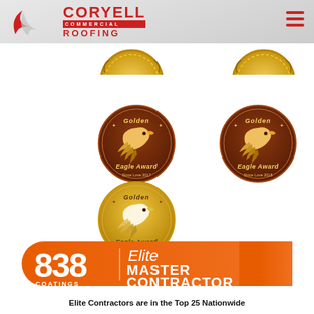[Figure (logo): Coryell Commercial Roofing logo with red swoosh graphic and company name in red text]
[Figure (illustration): Partial gold medallion award badge for 2014, showing laurel wreath design, top half visible]
[Figure (illustration): Partial gold medallion award badge for 2018, showing laurel wreath design, top half visible]
[Figure (illustration): Brown circular Golden Eagle Award badge with eagle head illustration, left position]
[Figure (illustration): Brown circular Golden Eagle Award badge with eagle head illustration, right position]
[Figure (illustration): Gold circular Golden Eagle Award badge with eagle head illustration, bottom left position]
[Figure (illustration): 838 Coatings Elite Master Contractor orange banner badge]
Elite Contractors are in the Top 25 Nationwide